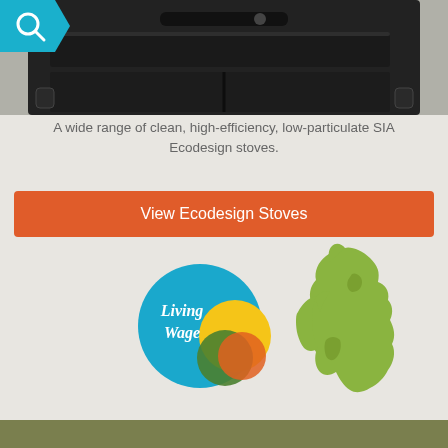[Figure (photo): Close-up photo of a dark metal wood-burning stove with a glass door and handle, showing the top loading slot and body of the stove against a tiled background.]
A wide range of clean, high-efficiency, low-particulate SIA Ecodesign stoves.
View Ecodesign Stoves
[Figure (logo): Living Wage employer logo: a blue circle with 'Living Wage' text in white, overlapping with a yellow and orange/green circle design.]
[Figure (illustration): Green silhouette map of Great Britain and Ireland (United Kingdom map outline).]
[Figure (other): Olive/khaki colored footer bar at the bottom of the page.]